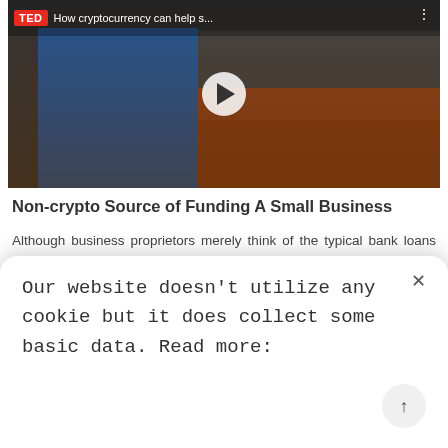[Figure (screenshot): TED video thumbnail showing a woman on stage with title 'How cryptocurrency can help s...' and a play button overlay. Red TED logo in top left corner.]
Non-crypto Source of Funding A Small Business
Although business proprietors merely think of the typical bank loans as a source of capitals, there are other options that are much better than the usual loans from financial institutions. The following are some possibilities:
Self-Financing
Our website doesn't utilize any cookie but it does collect some basic data. Read more: